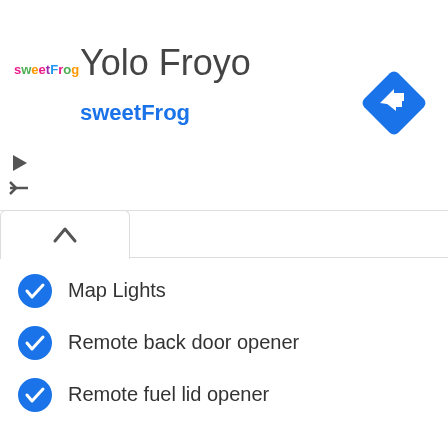[Figure (logo): sweetFrog logo with Yolo Froyo text and navigation icon]
Map Lights
Remote back door opener
Remote fuel lid opener
Keyless remote (Door+Trunk)
Auto Cruise Control
Key Light Warning Buzzer